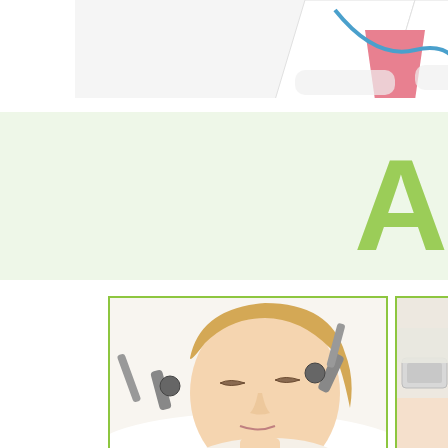[Figure (photo): Doctor in white lab coat with stethoscope, arms crossed, cropped at torso — partially visible at top of page]
[Figure (other): Light green banner background with large green letter A visible at far right edge]
[Figure (photo): Woman receiving hardware facelift treatment with roller devices applied to face, lying on white towel, green border frame]
HARDWARE FACELIFT
[Figure (photo): Laser rejuvenation treatment being applied to skin by gloved hands, partially visible at right edge, green border frame]
LASER REJU